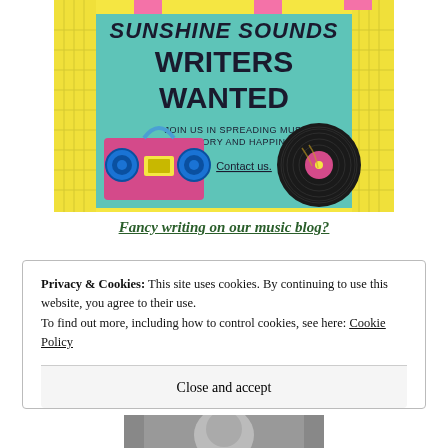[Figure (illustration): Promotional banner for 'Sunshine Sounds' music blog with teal background, yellow notebook-paper border, boombox illustration, vinyl record, text 'SUNSHINE SOUNDS WRITERS WANTED JOIN US IN SPREADING MUSICAL HISTORY AND HAPPINESS. Contact us.']
Fancy writing on our music blog?
Privacy & Cookies: This site uses cookies. By continuing to use this website, you agree to their use.
To find out more, including how to control cookies, see here: Cookie Policy
Close and accept
[Figure (photo): Partial photo at the bottom of a person, partially visible]